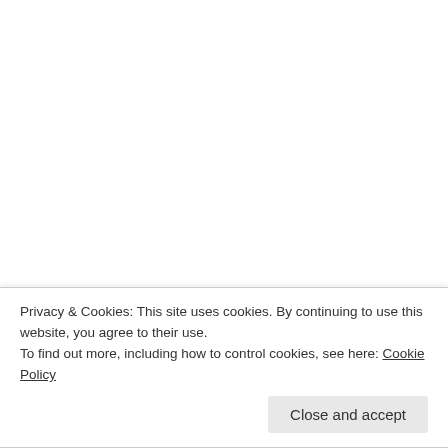Posted in awesome, Did you Know?, Forgiveness, Love, Motivational, What he Wants
Tagged ask, awesome, bible verses, Christ Jesus, christian, darkness, definition, depression, Devil, direction, faith, forgiveness, God-breathed, good news, guide, Heavenly Father, help, Holy Bible
Privacy & Cookies: This site uses cookies. By continuing to use this website, you agree to their use. To find out more, including how to control cookies, see here: Cookie Policy
Close and accept